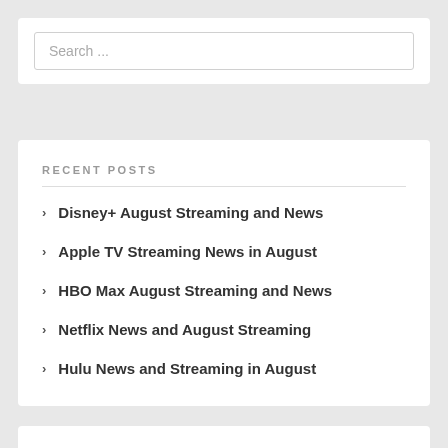Search ...
RECENT POSTS
Disney+ August Streaming and News
Apple TV Streaming News in August
HBO Max August Streaming and News
Netflix News and August Streaming
Hulu News and Streaming in August